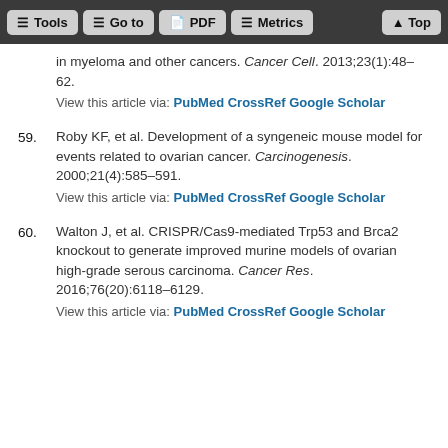Tools | Go to | PDF | Metrics | Top
in myeloma and other cancers. Cancer Cell. 2013;23(1):48–62.
View this article via: PubMed CrossRef Google Scholar
59. Roby KF, et al. Development of a syngeneic mouse model for events related to ovarian cancer. Carcinogenesis. 2000;21(4):585–591.
View this article via: PubMed CrossRef Google Scholar
60. Walton J, et al. CRISPR/Cas9-mediated Trp53 and Brca2 knockout to generate improved murine models of ovarian high-grade serous carcinoma. Cancer Res. 2016;76(20):6118–6129.
View this article via: PubMed CrossRef Google Scholar